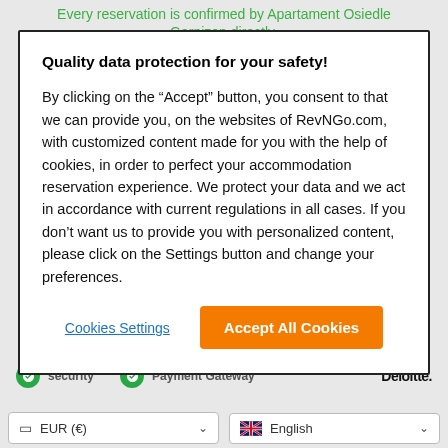Every reservation is confirmed by Apartament Osiedle Garnizon directly.
Quality data protection for your safety!
By clicking on the “Accept” button, you consent to that we can provide you, on the websites of RevNGo.com, with customized content made for you with the help of cookies, in order to perfect your accommodation reservation experience. We protect your data and we act in accordance with current regulations in all cases. If you don’t want us to provide you with personalized content, please click on the Settings button and change your preferences.
Cookies Settings
Accept All Cookies
security   Payment Gateway   Deloitte.
EUR (€)
English